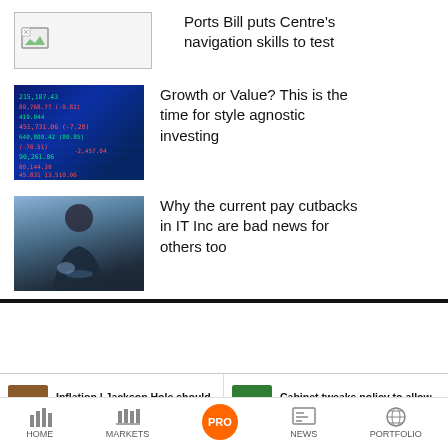[Figure (other): Placeholder image thumbnail with broken image icon]
Ports Bill puts Centre’s navigation skills to test
[Figure (photo): Stock market ticker board showing financial numbers in blue and green]
Growth or Value? This is the time for style agnostic investing
[Figure (photo): Business person in suit holding a tablet with digital overlay]
Why the current pay cutbacks in IT Inc are bad news for others too
[Figure (photo): Small thumbnail for inflation/Jackson Hole article]
Inflation | Jackson Hole should be a mea culpa f...
[Figure (photo): Small green thumbnail for Cabinet wheat policy article]
Cabinet tweaks policy to allow ban of wheat d...
HOME   MARKETS   BE A PRO   NEWS   PORTFOLIO